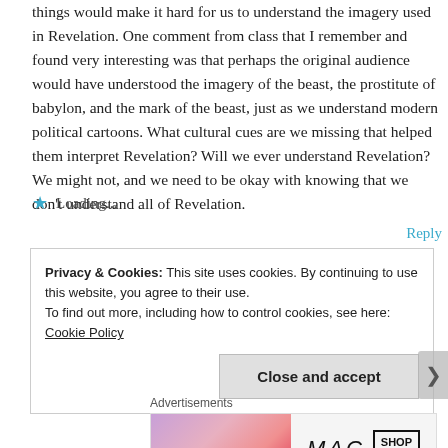things would make it hard for us to understand the imagery used in Revelation. One comment from class that I remember and found very interesting was that perhaps the original audience would have understood the imagery of the beast, the prostitute of babylon, and the mark of the beast, just as we understand modern political cartoons. What cultural cues are we missing that helped them interpret Revelation? Will we ever understand Revelation? We might not, and we need to be okay with knowing that we don't understand all of Revelation.
★ Loading...
Reply
Privacy & Cookies: This site uses cookies. By continuing to use this website, you agree to their use.
To find out more, including how to control cookies, see here: Cookie Policy
Close and accept
Advertisements
[Figure (photo): MAC cosmetics advertisement banner showing lipsticks and the MAC logo with a 'Shop Now' button]